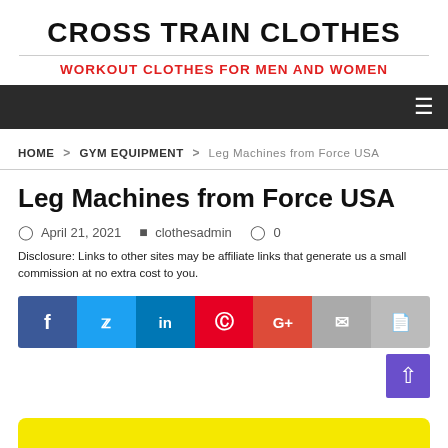CROSS TRAIN CLOTHES
WORKOUT CLOTHES FOR MEN AND WOMEN
HOME > GYM EQUIPMENT > Leg Machines from Force USA
Leg Machines from Force USA
April 21, 2021   clothesadmin   0
Disclosure: Links to other sites may be affiliate links that generate us a small commission at no extra cost to you.
[Figure (infographic): Social share buttons: Facebook, Twitter, LinkedIn, Pinterest, Google+, Email, Print]